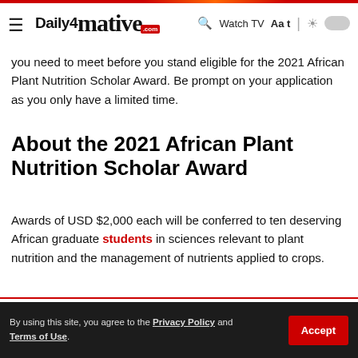Daily4Mative — Watch TV  Aa
you need to meet before you stand eligible for the 2021 African Plant Nutrition Scholar Award. Be prompt on your application as you only have a limited time.
About the 2021 African Plant Nutrition Scholar Award
Awards of USD $2,000 each will be conferred to ten deserving African graduate students in sciences relevant to plant nutrition and the management of nutrients applied to crops.
[Figure (photo): Group of African students or people at an event, visible in lower left portion of page]
By using this site, you agree to the Privacy Policy and Terms of Use.